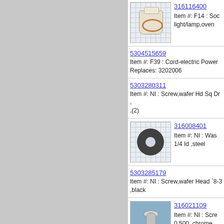[Figure (photo): Photo of oven light/lamp socket part 316116400 on grid background]
316116400
Item #: F14 : Socket light/lamp,oven
5304515659
Item #: F39 : Cord-electric Power
Replaces: 3202006
5303280311
Item #: NI : Screw,wafer Hd Sq Dr ,
,(2)
[Figure (photo): Photo of washer part 316008401 on grid background]
316008401
Item #: NI : Washer 1/4 Id ,steel
5303285179
Item #: NI : Screw,wafer Head `8-32 ,black
[Figure (photo): Photo of screw part 316021109 on grid background]
316021109
Item #: NI : Screw 0.500 ,chrome